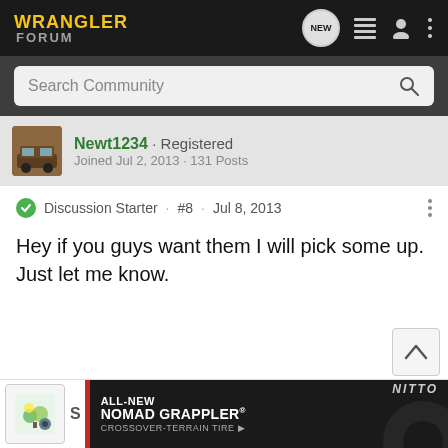WRANGLER FORUM
Search Community
Newt1234 · Registered
Joined Jul 2, 2013 · 131 Posts
Discussion Starter · #8 · Jul 8, 2013
Hey if you guys want them I will pick some up. Just let me know.
[Figure (screenshot): Scroll to top button with upward arrow]
[Figure (screenshot): Nitto ALL-NEW NOMAD GRAPPLER CROSSOVER-TERRAIN TIRE advertisement banner at bottom of page]